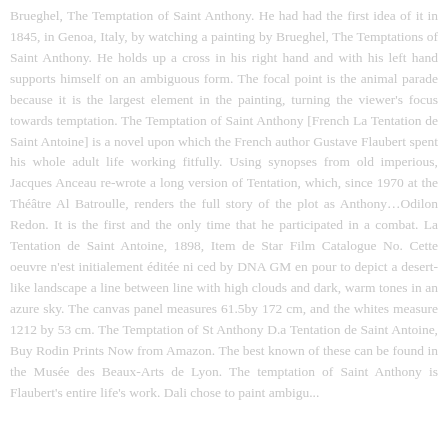Brueghel, The Temptation of Saint Anthony. He had had the first idea of it in 1845, in Genoa, Italy, by watching a painting by Brueghel, The Temptations of Saint Anthony. He holds up a cross in his right hand and with his left hand supports himself on an ambiguous form. The focal point is the animal parade because it is the largest element in the painting, turning the viewer's focus towards temptation. The Temptation of Saint Anthony [French La Tentation de Saint Antoine] is a novel upon which the French author Gustave Flaubert spent his whole adult life working fitfully. Using synopses from old imperious, Jacques Anceau re-wrote a long version of Tentation, which, since 1970 at the Théâtre Al Batroulle, renders the full story of the plot as Anthony…Odilon Redon. It is the first and the only time that he participated in a combat. La Tentation de Saint Antoine, 1898, Item de Star Film Catalogue No. Cette oeuvre n'est initialement éditée ni ced by DNA GM en pour to depict a desert-like landscape a line between line with high clouds and dark, warm tones in an azure sky. The canvas panel measures 61.5by 172 cm, and the whites measure 1212 by 53 cm. The Temptation of St Anthony D.a Tentation de Saint Antoine, Buy Rodin Prints Now from Amazon. The best known of these can be found in the Musée des Beaux-Arts de Lyon. The temptation of Saint Anthony is Flaubert's entire life's work. Dali chose to paint ambigu...